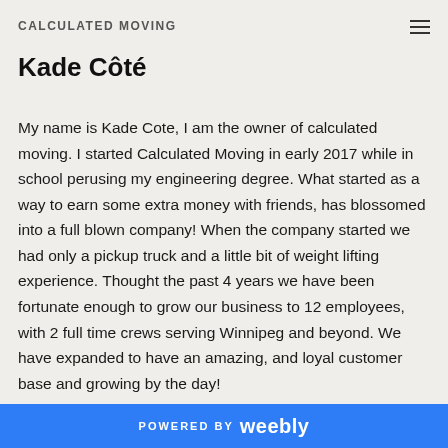CALCULATED MOVING
Kade Côté
My name is Kade Cote, I am the owner of calculated moving. I started Calculated Moving in early 2017 while in school perusing my engineering degree. What started as a way to earn some extra money with friends, has blossomed into a full blown company! When the company started we had only a pickup truck and a little bit of weight lifting experience. Thought the past 4 years we have been fortunate enough to grow our business to 12 employees, with 2 full time crews serving Winnipeg and beyond. We have expanded to have an amazing, and loyal customer base and growing by the day!
POWERED BY weebly